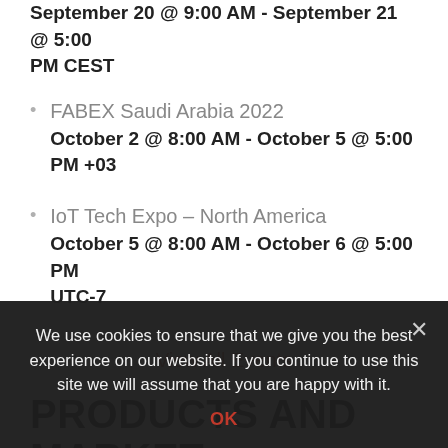September 20 @ 9:00 AM - September 21 @ 5:00 PM CEST
FABEX Saudi Arabia 2022
October 2 @ 8:00 AM - October 5 @ 5:00 PM +03
IoT Tech Expo – North America
October 5 @ 8:00 AM - October 6 @ 5:00 PM UTC-7
View All Events
PRODUCTS AND MARKET RESEARCH REPORTS
We use cookies to ensure that we give you the best experience on our website. If you continue to use this site we will assume that you are happy with it.
OK